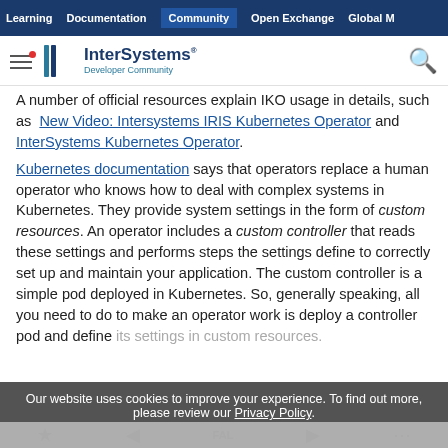Learning | Documentation | Community | Open Exchange | Global M
[Figure (logo): InterSystems Developer Community logo with hamburger menu and search icon]
A number of official resources explain IKO usage in details, such as New Video: Intersystems IRIS Kubernetes Operator and InterSystems Kubernetes Operator.
Kubernetes documentation says that operators replace a human operator who knows how to deal with complex systems in Kubernetes. They provide system settings in the form of custom resources. An operator includes a custom controller that reads these settings and performs steps the settings define to correctly set up and maintain your application. The custom controller is a simple pod deployed in Kubernetes. So, generally speaking, all you need to do to make an operator work is deploy a controller pod and define its settings in custom resources.
Our website uses cookies to improve your experience. To find out more, please review our Privacy Policy.